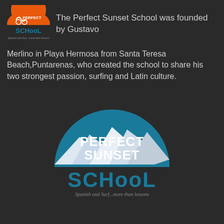[Figure (logo): Perfect Sunset School logo - orange circle with bicycle/surfer silhouette, orange and dark text]
The Perfect Sunset School was founded by Gustavo Merlino in Playa Hermosa from Santa Teresa Beach,Puntarenas, who created the school to share his two strongest passion, surfing and Latin culture.
[Figure (logo): Large Perfect Sunset School logo - teal semicircle with white mountains/waves, PERFECT SUNSET text in white, SCHOOL in teal stylized text, and cursive tagline at bottom]